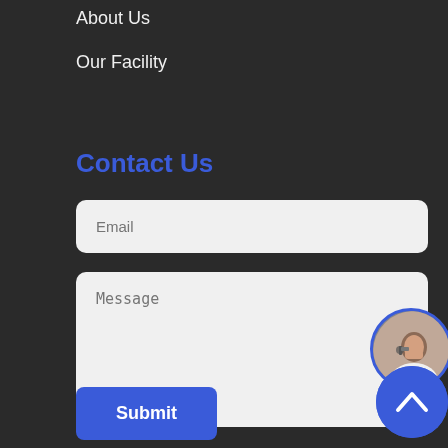About Us
Our Facility
Contact Us
Email
Message
Submit
[Figure (photo): Customer service representative with headset, shown in circular avatar with blue border, positioned bottom right]
[Figure (other): Blue circular scroll-up button with upward chevron arrow, positioned bottom right]